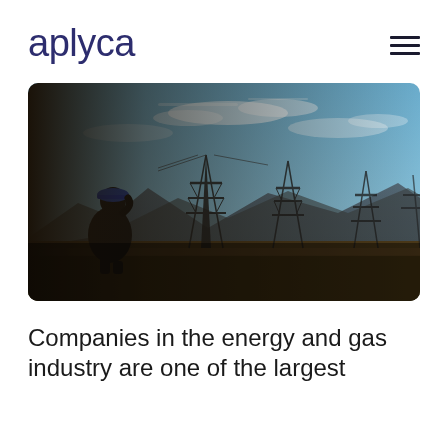aplyca
[Figure (photo): Silhouette of a worker wearing a hard hat, standing in a field looking at multiple large electrical transmission towers (pylons) against a blue sky with mountains in the background.]
Companies in the energy and gas industry are one of the largest